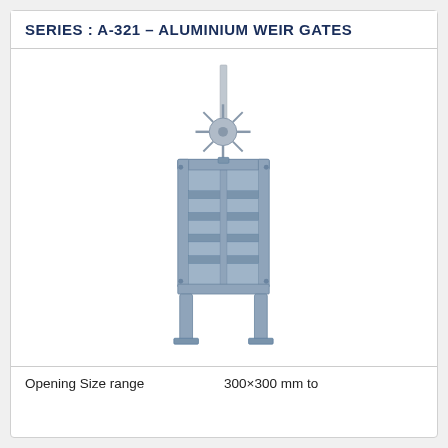SERIES : A-321 – ALUMINIUM WEIR GATES
[Figure (illustration): Aluminium weir gate with vertical screw spindle actuator on top, rectangular gate panel with horizontal stiffeners, and two vertical side posts at the bottom for mounting. The gate is shown in a light steel-blue/grey colour.]
Opening Size range   300×300 mm to